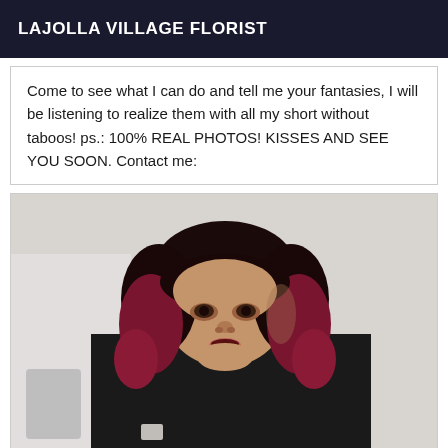LAJOLLA VILLAGE FLORIST
Come to see what I can do and tell me your fantasies, I will be listening to realize them with all my short without taboos! ps.: 100% REAL PHOTOS! KISSES AND SEE YOU SOON. Contact me:
[Figure (photo): A person with dark hair with reddish-pink highlights, wearing a black top, looking at the camera with mouth slightly open. Background appears to be a light-colored wall.]